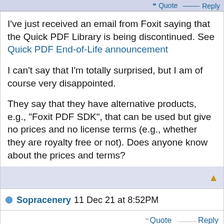I've just received an email from Foxit saying that the Quick PDF Library is being discontinued. See Quick PDF End-of-Life announcement

I can't say that I'm totally surprised, but I am of course very disappointed.

They say that they have alternative products, e.g., "Foxit PDF SDK", that can be used but give no prices and no license terms (e.g., whether they are royalty free or not). Does anyone know about the prices and terms?
Sopracenery 11 Dec 21 at 8:52PM
Quote   Reply